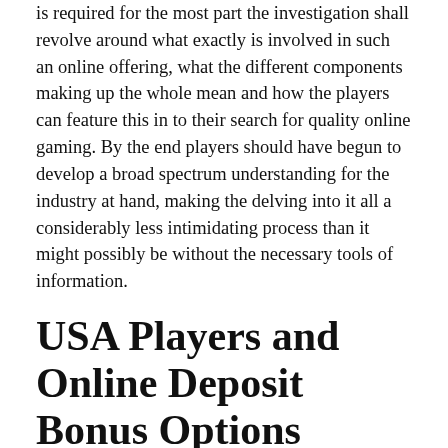is required for the most part the investigation shall revolve around what exactly is involved in such an online offering, what the different components making up the whole mean and how the players can feature this in to their search for quality online gaming. By the end players should have begun to develop a broad spectrum understanding for the industry at hand, making the delving into it all a considerably less intimidating process than it might possibly be without the necessary tools of information.
USA Players and Online Deposit Bonus Options
Players of the USA will find that for the most part casino sites focus their effort on certain demographics, defined either by geography or even preferred gaming options or language. This means that the offers they likely receive are largely for them specifically and as